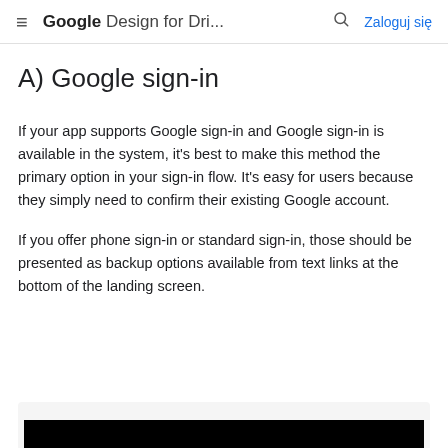≡  Google Design for Dri...  🔍  Zaloguj się
A) Google sign-in
If your app supports Google sign-in and Google sign-in is available in the system, it's best to make this method the primary option in your sign-in flow. It's easy for users because they simply need to confirm their existing Google account.
If you offer phone sign-in or standard sign-in, those should be presented as backup options available from text links at the bottom of the landing screen.
[Figure (screenshot): Bottom portion of a mobile screen showing a dark/black UI element at the bottom, partially visible against a light gray background.]